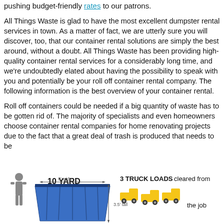pushing budget-friendly rates to our patrons.
All Things Waste is glad to have the most excellent dumpster rental services in town. As a matter of fact, we are utterly sure you will discover, too, that our container rental solutions are simply the best around, without a doubt. All Things Waste has been providing high-quality container rental services for a considerably long time, and we're undoubtedly elated about having the possibility to speak with you and potentially be your roll off container rental company. The following information is the best overview of your container rental.
Roll off containers could be needed if a big quantity of waste has to be gotten rid of. The majority of specialists and even homeowners choose container rental companies for home renovating projects due to the fact that a great deal of trash is produced that needs to be
[Figure (infographic): Infographic showing a 10 YARD dumpster with a person silhouette, labeled '8' wide' and '3.5' tall', alongside '3 TRUCK LOADS' with three yellow pickup truck icons, and text 'cleared from the job']